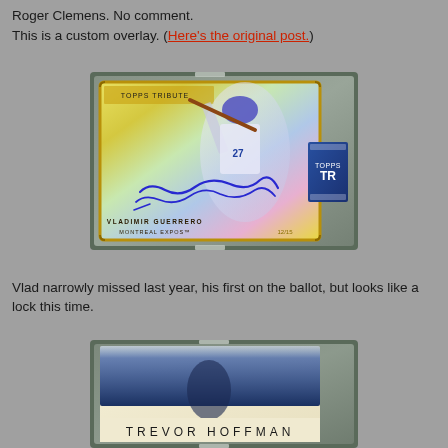Roger Clemens. No comment.
This is a custom overlay. (Here's the original post.)
[Figure (photo): Topps Tribute baseball card of Vladimir Guerrero, Montreal Expos, in a hard plastic case. The card features a holographic gold background, a blue autograph signature, and the text 'VLADIMIR GUERRERO MONTREAL EXPOS'. A Topps Tribute authentication sticker is visible on the right side.]
Vlad narrowly missed last year, his first on the ballot, but looks like a lock this time.
[Figure (photo): Baseball card of Trevor Hoffman in a hard plastic case. The card shows 'TREVOR HOFFMAN' in large spaced letters at the bottom, with a photo of a player at the top.]